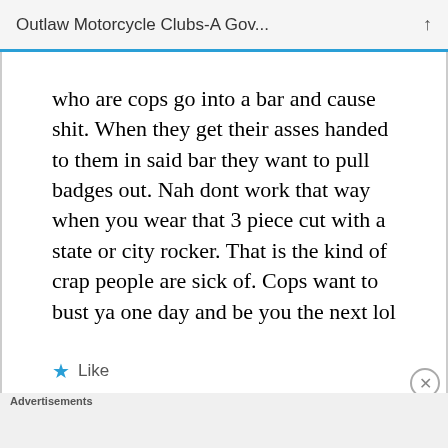Outlaw Motorcycle Clubs-A Gov...
who are cops go into a bar and cause shit. When they get their asses handed to them in said bar they want to pull badges out. Nah dont work that way when you wear that 3 piece cut with a state or city rocker. That is the kind of crap people are sick of. Cops want to bust ya one day and be you the next lol
★ Like
[Figure (screenshot): Advertisement banner for ULTA beauty products showing makeup product images including lips, brush, eye, ULTA logo, eyes, and SHOP NOW button]